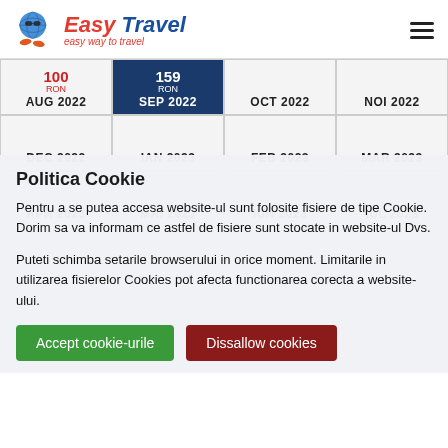Easy Travel - easy way to travel
| AUG 2022 | SEP 2022 | OCT 2022 | NOI 2022 | DEC 2022 | IAN 2023 | FEB 2023 | MAR 2023 | APR 2023 | MAI 2023 | IUN 2023 | IUL 2023 |
| --- | --- | --- | --- | --- | --- | --- | --- | --- | --- | --- | --- |
| 100 RON | 159 RON |  |  |
|  |  |  |  |
|  |  |  |  |
Politica Cookie
Pentru a se putea accesa website-ul sunt folosite fisiere de tipe Cookie. Dorim sa va informam ce astfel de fisiere sunt stocate in website-ul Dvs.
Puteti schimba setarile browserului in orice moment. Limitarile in utilizarea fisierelor Cookies pot afecta functionarea corecta a website-ului.
Accept cookie-urile | Dissallow cookies